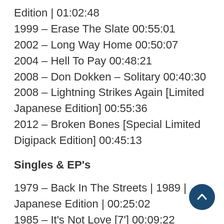Edition | 01:02:48
1999 – Erase The Slate 00:55:01
2002 – Long Way Home 00:50:07
2004 – Hell To Pay 00:48:21
2008 – Don Dokken – Solitary 00:40:30
2008 – Lightning Strikes Again [Limited Japanese Edition] 00:55:36
2012 – Broken Bones [Special Limited Digipack Edition] 00:45:13
Singles & EP's
1979 – Back In The Streets | 1989 | Japanese Edition | 00:25:02
1985 – It's Not Love [7'] 00:09:22